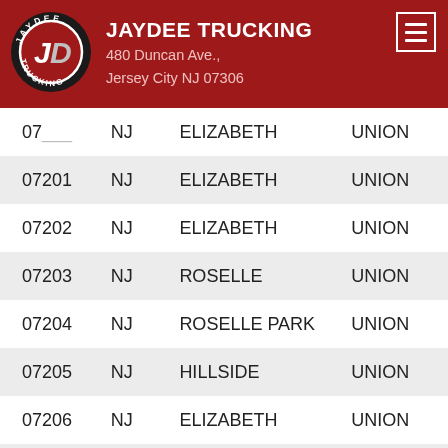[Figure (logo): Jaydee Trucking logo: circular black and red badge with 'JD' initials and 'TRUCKING' text around the border]
JAYDEE TRUCKING
480 Duncan Ave.,
Jersey City NJ 07306
| ZIP | STATE | CITY | COUNTY |
| --- | --- | --- | --- |
| 07___ | NJ | ELIZABETH | UNION |
| 07201 | NJ | ELIZABETH | UNION |
| 07202 | NJ | ELIZABETH | UNION |
| 07203 | NJ | ROSELLE | UNION |
| 07204 | NJ | ROSELLE PARK | UNION |
| 07205 | NJ | HILLSIDE | UNION |
| 07206 | NJ | ELIZABETH | UNION |
| 07207 | NJ | ELIZABETH | UNION |